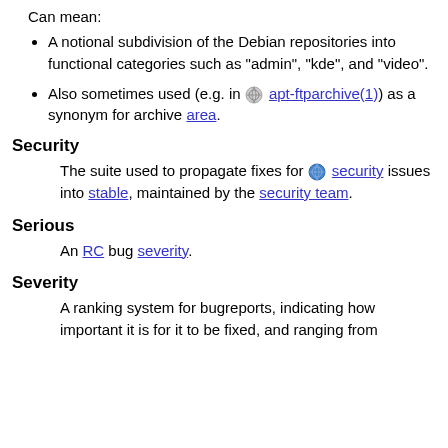Can mean:
A notional subdivision of the Debian repositories into functional categories such as "admin", "kde", and "video".
Also sometimes used (e.g. in [icon] apt-ftparchive(1)) as a synonym for archive area.
Security
The suite used to propagate fixes for [icon] security issues into stable, maintained by the security team.
Serious
An RC bug severity.
Severity
A ranking system for bugreports, indicating how important it is for it to be fixed, and ranging from